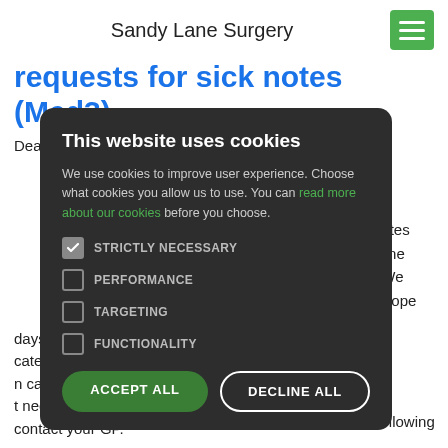Sandy Lane Surgery
requests for sick notes (Med3)
Dear Patient/s
[Figure (screenshot): Cookie consent modal dialog with dark background showing: title 'This website uses cookies', body text about cookie usage with a green 'read more about our cookies' link, four checkbox options (STRICTLY NECESSARY checked, PERFORMANCE, TARGETING, FUNCTIONALITY unchecked), and two buttons: 'ACCEPT ALL' (green filled) and 'DECLINE ALL' (outlined white)]
sick notes telephone well. We at we hope t the following days, you are cate and n can be t need to contact your GP.